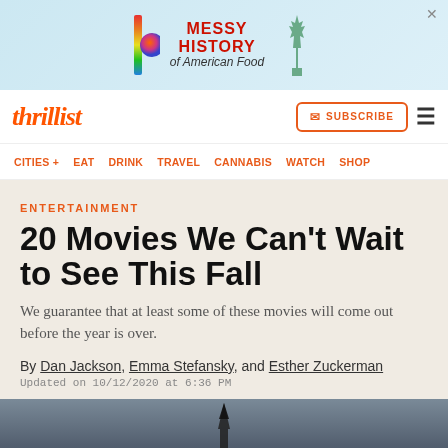[Figure (screenshot): Advertisement banner for 'Messy History of American Food' with colorful icons and Statue of Liberty image]
thrillist | SUBSCRIBE ☰ | CITIES + EAT DRINK TRAVEL CANNABIS WATCH SHOP
ENTERTAINMENT
20 Movies We Can't Wait to See This Fall
We guarantee that at least some of these movies will come out before the year is over.
By Dan Jackson, Emma Stefansky, and Esther Zuckerman
Updated on 10/12/2020 at 6:36 PM
[Figure (photo): Bottom portion of article page showing a dark sky background with a rocket or tower silhouette]